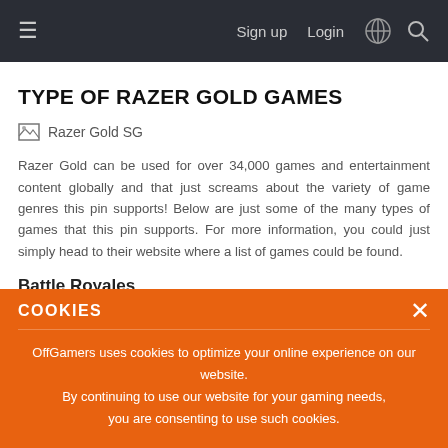Sign up  Login
TYPE OF RAZER GOLD GAMES
[Figure (photo): Broken image placeholder labeled 'Razer Gold SG']
Razer Gold can be used for over 34,000 games and entertainment content globally and that just screams about the variety of game genres this pin supports! Below are just some of the many types of games that this pin supports. For more information, you could just simply head to their website where a list of games could be found.
Battle Royales
The ever-popular genre out there, battle royales where players wo... have to fight to be the last one standing is still addictive as when it...
COOKIES
OffGamers uses cookies to optimize your online experience on our website.
By continuing to use our website for your gaming needs,
you are consenting to use such cookies.